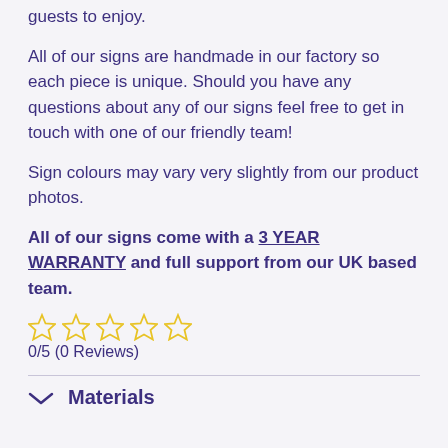guests to enjoy.
All of our signs are handmade in our factory so each piece is unique. Should you have any questions about any of our signs feel free to get in touch with one of our friendly team!
Sign colours may vary very slightly from our product photos.
All of our signs come with a 3 YEAR WARRANTY and full support from our UK based team.
[Figure (other): Five empty star rating icons in yellow outline]
0/5 (0 Reviews)
Materials